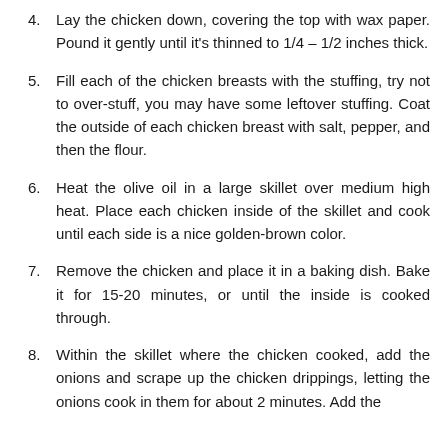4. Lay the chicken down, covering the top with wax paper. Pound it gently until it's thinned to 1/4 – 1/2 inches thick.
5. Fill each of the chicken breasts with the stuffing, try not to over-stuff, you may have some leftover stuffing. Coat the outside of each chicken breast with salt, pepper, and then the flour.
6. Heat the olive oil in a large skillet over medium high heat. Place each chicken inside of the skillet and cook until each side is a nice golden-brown color.
7. Remove the chicken and place it in a baking dish. Bake it for 15-20 minutes, or until the inside is cooked through.
8. Within the skillet where the chicken cooked, add the onions and scrape up the chicken drippings, letting the onions cook in them for about 2 minutes. Add the